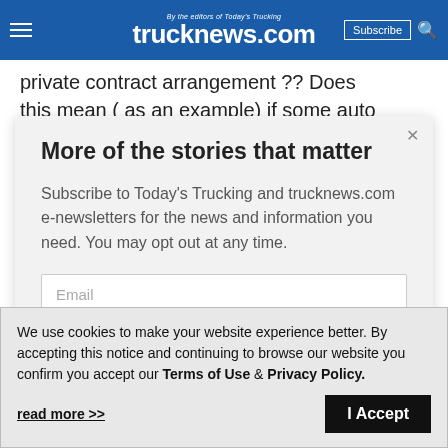trucknews.com — By the editors of Today's Trucking
private contract arrangement ?? Does this mean ( as an example) if some auto
More of the stories that matter
Subscribe to Today's Trucking and trucknews.com e-newsletters for the news and information you need. You may opt out at any time.
Email
We use cookies to make your website experience better. By accepting this notice and continuing to browse our website you confirm you accept our Terms of Use & Privacy Policy.
read more >>
I Accept